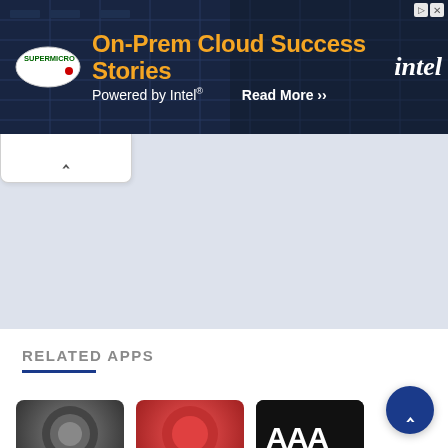[Figure (screenshot): Advertisement banner for Supermicro On-Prem Cloud Success Stories powered by Intel. Dark blue background with server imagery. Supermicro logo on left, orange headline text 'On-Prem Cloud Success Stories', white subtext 'Powered by Intel', 'Read More >>' call to action, and Intel logo on right.]
[Figure (screenshot): A collapsed UI panel tab with an upward chevron arrow (^) on white background, indicating a collapsible section.]
[Figure (screenshot): Large empty light blue-gray panel area, representing a content area of a webpage with no visible content loaded.]
RELATED APPS
[Figure (screenshot): Row of app thumbnail images partially visible at bottom: a dark circular logo, a red circular logo, and a dark image with 'AAA' text visible.]